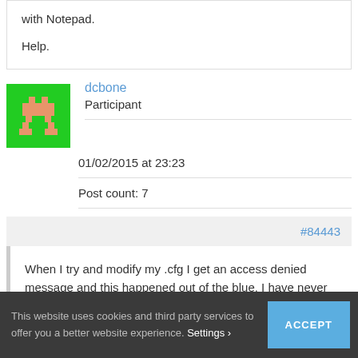with Notepad.

Help.
[Figure (illustration): Pixel art avatar on green background — a pink/salmon colored pixel character (Space Invader style) on a bright green square background.]
dcbone
Participant
01/02/2015 at 23:23
Post count: 7
#84443
When I try and modify my .cfg I get an access denied message and this happened out of the blue. I have never
This website uses cookies and third party services to offer you a better website experience. Settings ›